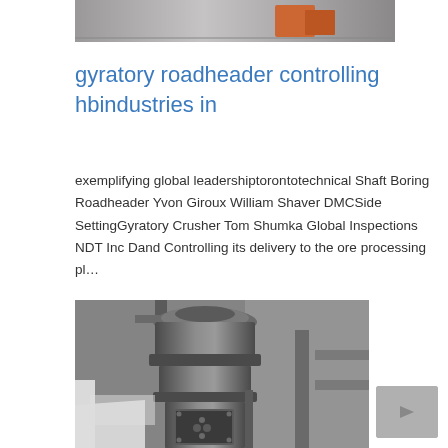[Figure (photo): Top partial image of industrial/mining scene with worker in orange safety gear]
gyratory roadheader controlling hbindustries in
exemplifying global leadershiptorontotechnical Shaft Boring Roadheader Yvon Giroux William Shaver DMCSide SettingGyratory Crusher Tom Shumka Global Inspections NDT Inc Dand Controlling its delivery to the ore processing pl…
[Figure (photo): Large industrial gyratory crusher machine in a facility, gray metal structure with flanged sections]
[Figure (other): Navigation button with right-pointing arrow]